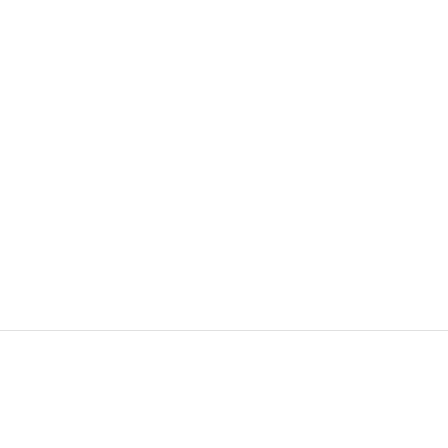Book Online Appointment
Book Online Appointment Today And Get Free